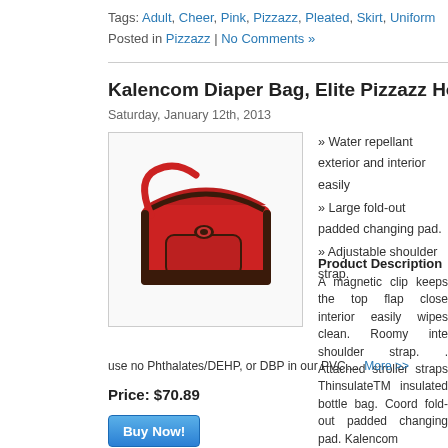Tags: Adult, Cheer, Pink, Pizzazz, Pleated, Skirt, Uniform
Posted in Pizzazz | No Comments »
Kalencom Diaper Bag, Elite Pizzazz Honeysuckle Pink
Saturday, January 12th, 2013
[Figure (photo): Red Kalencom diaper bag with adjustable shoulder strap and dark brown trim]
» Water repellant exterior and interior easily
» Large fold-out padded changing pad.
» Adjustable shoulder strap.
Product Description
A magnetic clip keeps the top flap close interior easily wipes clean. Roomy inte shoulder strap. . Attached stroller straps ThinsulateTM insulated bottle bag. Coord fold-out padded changing pad. Kalencom use no Phthalates/DEHP, or DBP in our PVC…. More >>
Price: $70.89
Buy Now!